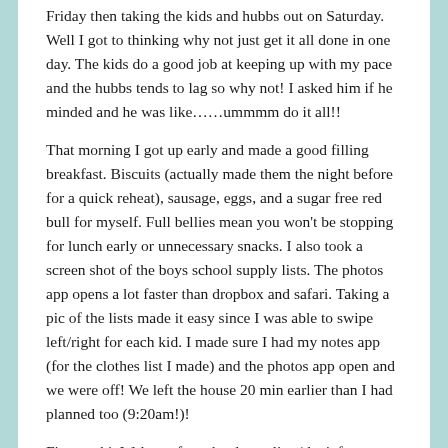Friday then taking the kids and hubbs out on Saturday.  Well I got to thinking why not just get it all done in one day.  The kids do a good job at keeping up with my pace and the hubbs tends to lag so why not!  I asked him if he minded and he was like……ummmm do it all!!
That morning I got up early and made a good filling breakfast.  Biscuits (actually made them the night before for a quick reheat), sausage, eggs, and a sugar free red bull for myself.  Full bellies mean you won't be stopping for lunch early or unnecessary snacks.  I also took a screen shot of the boys school supply lists.  The photos app opens a lot faster than dropbox and safari.  Taking a pic of the lists made it easy since I was able to swipe left/right for each kid. I made sure I had my notes app (for the clothes list I made) and the photos app open and we were off!  We left the house 20 min earlier than I had planned too (9:20am!)!
First we hit Walmart for school supplies (don't forget to